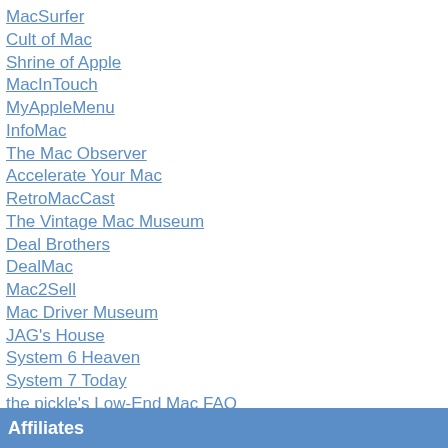MacSurfer
Cult of Mac
Shrine of Apple
MacInTouch
MyAppleMenu
InfoMac
The Mac Observer
Accelerate Your Mac
RetroMacCast
The Vintage Mac Museum
Deal Brothers
DealMac
Mac2Sell
Mac Driver Museum
JAG's House
System 6 Heaven
System 7 Today
the pickle's Low-End Mac FAQ
Affiliates